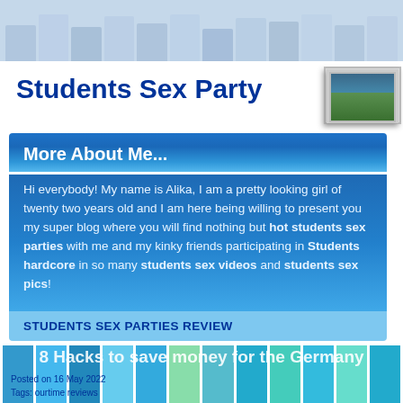Students Sex Party
[Figure (photo): Small thumbnail photo of outdoor scene with greenery]
More About Me...
Hi everybody! My name is Alika, I am a pretty looking girl of twenty two years old and I am here being willing to present you my super blog where you will find nothing but hot students sex parties with me and my kinky friends participating in Students hardcore in so many students sex videos and students sex pics!
STUDENTS SEX PARTIES REVIEW
8 Hacks to save money for the Germany
Posted on 16 May 2022
Tags: ourtime reviews